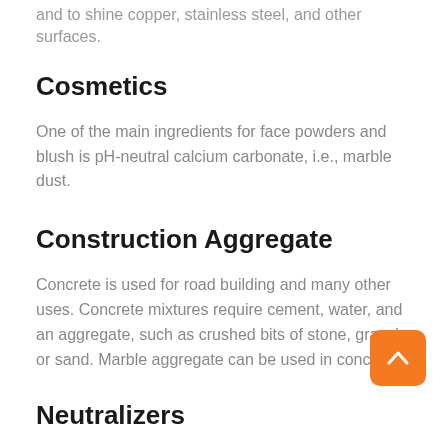and to shine copper, stainless steel, and other surfaces.
Cosmetics
One of the main ingredients for face powders and blush is pH-neutral calcium carbonate, i.e., marble dust.
Construction Aggregate
Concrete is used for road building and many other uses. Concrete mixtures require cement, water, and an aggregate, such as crushed bits of stone, gravel, or sand. Marble aggregate can be used in concrete
Neutralizers
Here is a little chemistry lesson. If marble is dissolved